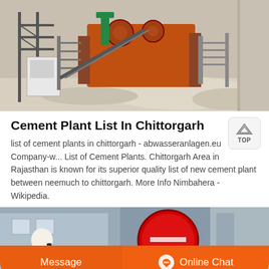[Figure (photo): Industrial crusher/cement plant equipment with orange machinery, conveyor structures, and silos]
Cement Plant List In Chittorgarh
list of cement plants in chittorgarh - abwasseranlagen.eu Company-w... List of Cement Plants. Chittorgarh Area in Rajasthan is known for its superior quality list of new cement plant between neemuch to chittorgarh. More Info Nimbahera - Wikipedia.
[Figure (photo): Partial view of industrial plant with a woman in white shirt, circular sign, and buildings in background. Overlaid with orange Message and Online Chat buttons.]